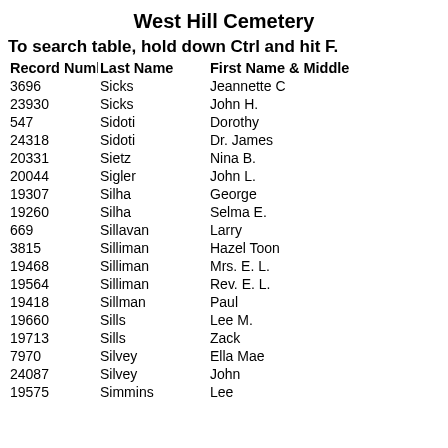West Hill Cemetery
To search table, hold down Ctrl and hit F.
| Record Number | Last Name | First Name & Middle |  |
| --- | --- | --- | --- |
| 3696 | Sicks | Jeannette C |  |
| 23930 | Sicks | John H. |  |
| 547 | Sidoti | Dorothy |  |
| 24318 | Sidoti | Dr. James |  |
| 20331 | Sietz | Nina B. |  |
| 20044 | Sigler | John L. |  |
| 19307 | Silha | George |  |
| 19260 | Silha | Selma E. |  |
| 669 | Sillavan | Larry |  |
| 3815 | Silliman | Hazel Toon |  |
| 19468 | Silliman | Mrs. E. L. |  |
| 19564 | Silliman | Rev. E. L. |  |
| 19418 | Sillman | Paul |  |
| 19660 | Sills | Lee M. |  |
| 19713 | Sills | Zack |  |
| 7970 | Silvey | Ella Mae |  |
| 24087 | Silvey | John |  |
| 19575 | Simmins | Lee |  |